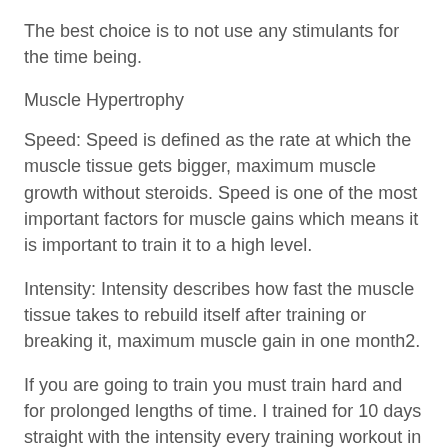The best choice is to not use any stimulants for the time being.
Muscle Hypertrophy
Speed: Speed is defined as the rate at which the muscle tissue gets bigger, maximum muscle growth without steroids. Speed is one of the most important factors for muscle gains which means it is important to train it to a high level.
Intensity: Intensity describes how fast the muscle tissue takes to rebuild itself after training or breaking it, maximum muscle gain in one month2.
If you are going to train you must train hard and for prolonged lengths of time. I trained for 10 days straight with the intensity every training workout in all 4 sessions at each